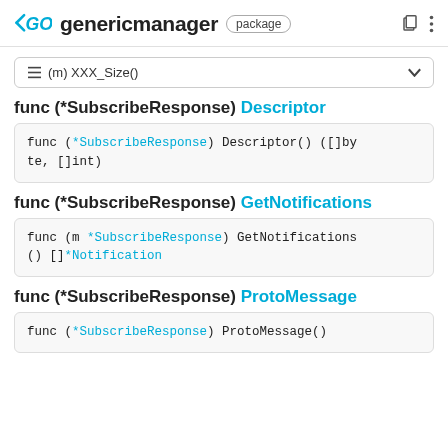genericmanager package
≡ (m) XXX_Size()
func (*SubscribeResponse) Descriptor
func (*SubscribeResponse) Descriptor() ([]byte, []int)
func (*SubscribeResponse) GetNotifications
func (m *SubscribeResponse) GetNotifications() []*Notification
func (*SubscribeResponse) ProtoMessage
func (*SubscribeResponse) ProtoMessage()